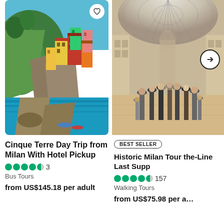[Figure (photo): Cinque Terre coastal village with colorful buildings on cliffs above turquoise water]
Cinque Terre Day Trip from Milan With Hotel Pickup
★★★★½  3
Bus Tours
from US$145.18 per adult
[Figure (photo): Interior of Galleria Vittorio Emanuele II in Milan with ornate glass dome roof and crowds of tourists]
BEST SELLER
Historic Milan Tour the-Line Last Supp
★★★★½  157
Walking Tours
from US$75.98 per adult